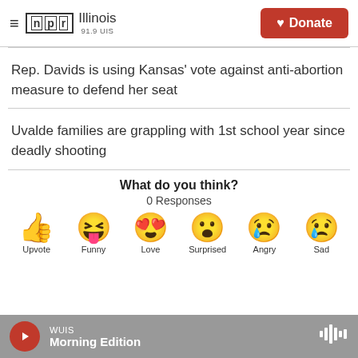NPR Illinois 91.9 UIS | Donate
Rep. Davids is using Kansas' vote against anti-abortion measure to defend her seat
Uvalde families are grappling with 1st school year since deadly shooting
What do you think?
0 Responses
[Figure (infographic): Six emoji reaction buttons: Upvote (thumbs up), Funny (laughing face with tongue), Love (heart eyes), Surprised (shocked face), Angry (crying/sad face), Sad (tear drop face)]
WUIS Morning Edition